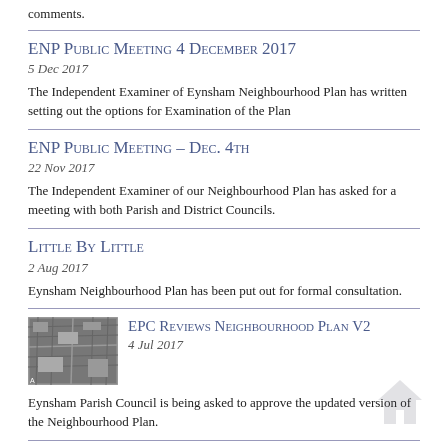comments.
ENP Public Meeting 4 December 2017
5 Dec 2017
The Independent Examiner of Eynsham Neighbourhood Plan has written setting out the options for Examination of the Plan
ENP Public Meeting – Dec. 4th
22 Nov 2017
The Independent Examiner of our Neighbourhood Plan has asked for a meeting with both Parish and District Councils.
Little By Little
2 Aug 2017
Eynsham Neighbourhood Plan has been put out for formal consultation.
EPC Reviews Neighbourhood Plan V2
4 Jul 2017
Eynsham Parish Council is being asked to approve the updated version of the Neighbourhood Plan.
Too Little, Too Late?
15 Jun 2017